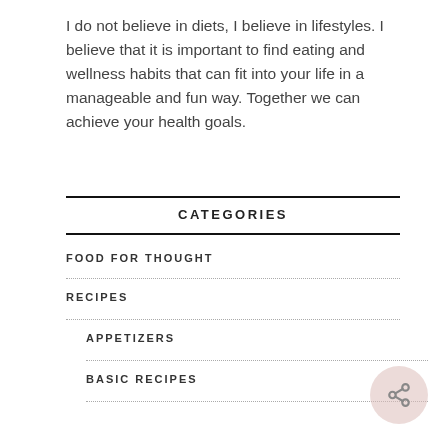I do not believe in diets, I believe in lifestyles. I believe that it is important to find eating and wellness habits that can fit into your life in a manageable and fun way. Together we can achieve your health goals.
CATEGORIES
FOOD FOR THOUGHT
RECIPES
APPETIZERS
BASIC RECIPES
[Figure (illustration): Share button icon — circular pale pink button with a share/network icon]